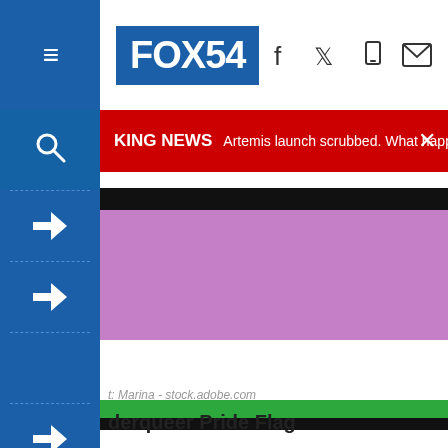FOX54
BREAKING NEWS — Artemis launch scrubbed. What happened? Read M... More (2) »
[Figure (photo): Genderqueer Pride Flag with purple, white, and green horizontal stripes]
t: Marina - stock.adobe.com
derqueer Pride Flag